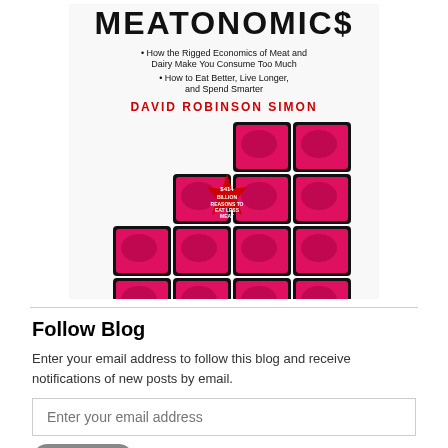[Figure (illustration): Book cover of 'Meatonomics' by David Robinson Simon. Title in large bold black letters at top. Bullet points: 'How the Rigged Economics of Meat and Dairy Make You Consume Too Much' and 'How to Eat Better, Live Longer, and Spend Smarter'. Author name in red: DAVID ROBINSON SIMON. Red starburst badge: '$414 BILLION REASONS TO EAT LESS MEAT'. Background shows a staircase pattern of packaged meat trays arranged in ascending steps.]
Follow Blog
Enter your email address to follow this blog and receive notifications of new posts by email.